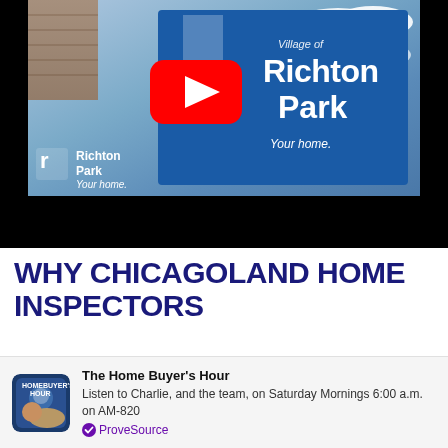[Figure (screenshot): YouTube video thumbnail showing Village of Richton Park sign with blue background and YouTube play button overlay. Lower left shows Richton Park logo with text 'Your home.' Black bar at bottom of video player.]
WHY CHICAGOLAND HOME INSPECTORS
[Figure (photo): Podcast thumbnail image for The Home Buyer's Hour]
The Home Buyer's Hour
Listen to Charlie, and the team, on Saturday Mornings 6:00 a.m. on AM-820
ProveSource